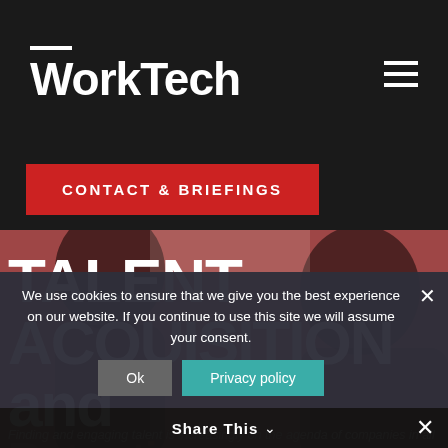WorkTech
CONTACT & BRIEFINGS
[Figure (photo): Hero background image showing silhouettes of people in a pink/red tinted overlay]
TALENT ACQUISITION and
Finding and engaging talent is increasingly on the agenda of companies in all
We use cookies to ensure that we give you the best experience on our website. If you continue to use this site we will assume your consent.
Ok  Privacy policy
Share This